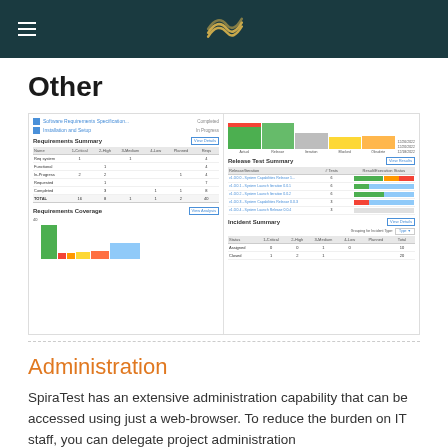SpiraTest navigation header with logo
Other
[Figure (screenshot): SpiraTest dashboard screenshot showing Requirements Summary table, Requirements Coverage bar chart on the left, and Release Test Summary table and Incident Summary table on the right, with colored bar indicators]
Administration
SpiraTest has an extensive administration capability that can be accessed using just a web-browser. To reduce the burden on IT staff, you can delegate project administration